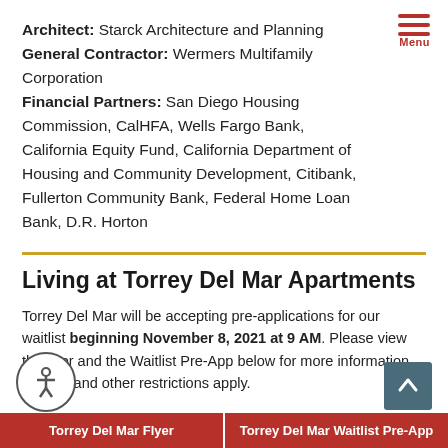Architect: Starck Architecture and Planning
General Contractor: Wermers Multifamily Corporation
Financial Partners: San Diego Housing Commission, CalHFA, Wells Fargo Bank, California Equity Fund, California Department of Housing and Community Development, Citibank, Fullerton Community Bank, Federal Home Loan Bank, D.R. Horton
Living at Torrey Del Mar Apartments
Torrey Del Mar will be accepting pre-applications for our waitlist beginning November 8, 2021 at 9 AM. Please view the flyer and the Waitlist Pre-App below for more information. Income and other restrictions apply.